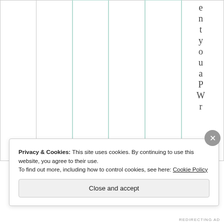|  |  |  |  |  | e
n
t
y
o
u
a
P
W
r
s |
Privacy & Cookies: This site uses cookies. By continuing to use this website, you agree to their use.
To find out more, including how to control cookies, see here: Cookie Policy
Close and accept
REDIRECTING AD